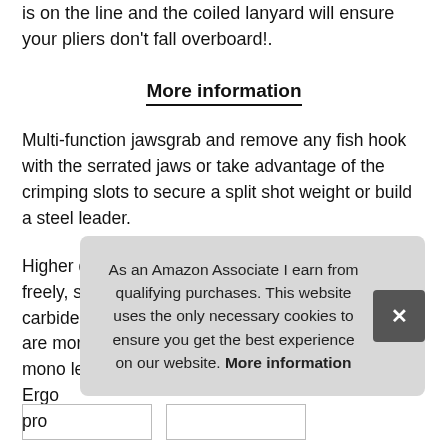is on the line and the coiled lanyard will ensure your pliers don't fall overboard!.
More information
Multi-function jawsgrab and remove any fish hook with the serrated jaws or take advantage of the crimping slots to secure a split shot weight or build a steel leader.
Higher quality spring loaded handle keeps it open freely, super easy to use by one hand. Tungsten carbide cutterssuper hard tungsten carbide cutters are more sharp than other cutters, the heaviest mono leader, make it extremely easy to cut the stro Ergo pro
As an Amazon Associate I earn from qualifying purchases. This website uses the only necessary cookies to ensure you get the best experience on our website. More information